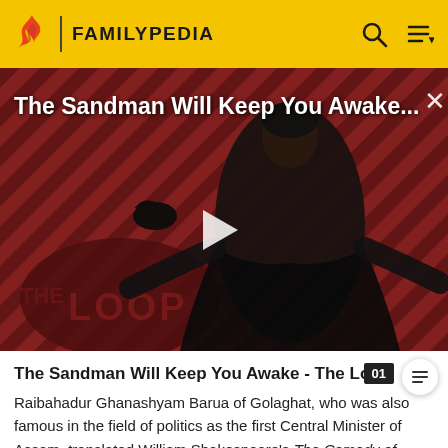FAMILYPEDIA
[Figure (screenshot): Video thumbnail showing a dark-robed figure (The Sandman) against a red and black diagonal striped background. 'THE LOOP' logo visible in lower left. White play button triangle in center. Title overlay reads 'The Sandman Will Keep You Awake...' with an X close button.]
The Sandman Will Keep You Awake - The Loop
Raibahadur Ghanashyam Barua of Golaghat, who was also famous in the field of politics as the first Central Minister of Assam, translated William Shakespeare's The Comedy of Errors into the Assamese language along with